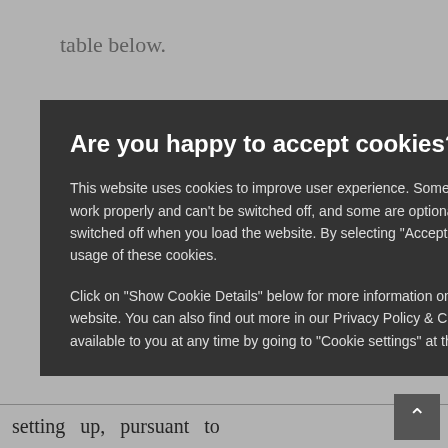table below.
| Timeframe for | on |
| --- | --- |
| er 2015 |  |
| rter 2016 |  |
setting up, pursuant to
Are you happy to accept cookies?

This website uses cookies to improve user experience. Some are necessary to help our website work properly and can't be switched off, and some are optional. Optional cookies are automatically switched off when you load the website. By selecting "Accept all", then you are agreeing to the usage of these cookies.

Click on "Show Cookie Details" below for more information on the cookies being used on this website. You can also find out more in our Privacy Policy & Cookies page, and manage the choices available to you at any time by going to "Cookie settings" at the